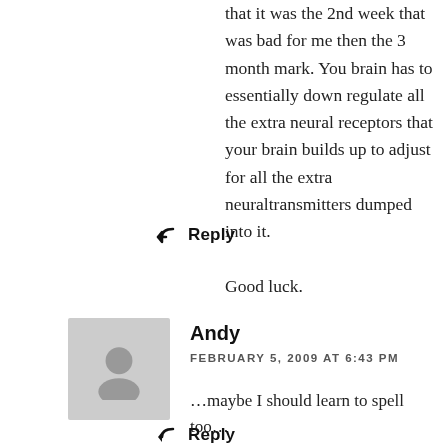that it was the 2nd week that was bad for me then the 3 month mark. You brain has to essentially down regulate all the extra neural receptors that your brain builds up to adjust for all the extra neuraltransmitters dumped into it.

Good luck.
Reply
Andy
FEBRUARY 5, 2009 AT 6:43 PM
…maybe I should learn to spell too…
Reply